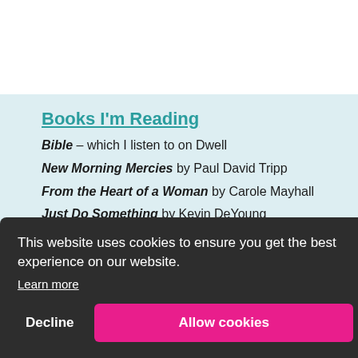Books I'm Reading
Bible – which I listen to on Dwell
New Morning Mercies by Paul David Tripp
From the Heart of a Woman by Carole Mayhall
Just Do Something by Kevin DeYoung
...lliot
This website uses cookies to ensure you get the best experience on our website.
Learn more
Decline
Allow cookies
by Elyse M. Fitzpatrick